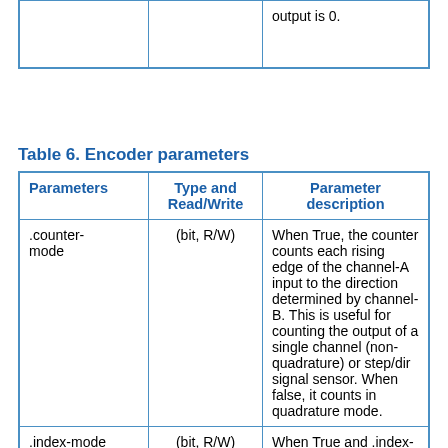|  |  | output is 0. |
Table 6. Encoder parameters
| Parameters | Type and Read/Write | Parameter description |
| --- | --- | --- |
| .counter-mode | (bit, R/W) | When True, the counter counts each rising edge of the channel-A input to the direction determined by channel-B. This is useful for counting the output of a single channel (non-quadrature) or step/dir signal sensor. When false, it counts in quadrature mode. |
| .index-mode | (bit, R/W) | When True and .index-enabled is also true, .counts and .position are rounded (based on .counts-per-rev) at rising edge of |